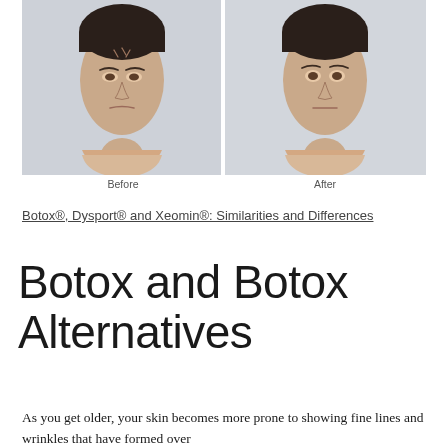[Figure (photo): Before and after comparison photos of a woman's face showing reduction of forehead wrinkles, side by side with labels 'Before' and 'After' below each photo]
Before    After
Botox®, Dysport® and Xeomin®: Similarities and Differences
Botox and Botox Alternatives
As you get older, your skin becomes more prone to showing fine lines and wrinkles that have formed over